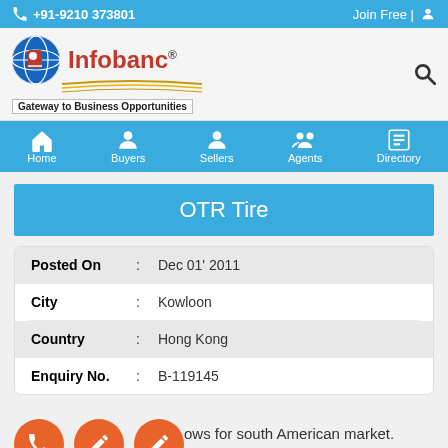+91-9210 373801  |  Join Free
[Figure (logo): Infobanc logo with globe icon and tagline 'Gateway to Business Opportunities']
Home  Buyers  Sellers  Agents  Directory
OTR Tire
| Field | Sep | Value |
| --- | --- | --- |
| Posted On | : | Dec 01' 2011 |
| City | : | Kowloon |
| Country | : | Hong Kong |
| Enquiry No. | : | B-119145 |
...as...e a...ows for south American market.